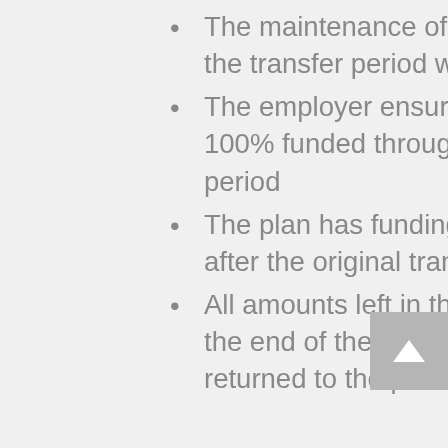The maintenance of effort continues to apply as if the transfer period were not shortened
The employer ensures that the plan stays at least 100% funded throughout the original transfer period
The plan has funding targets for the first five years after the original transfer period; and
All amounts left in the retiree benefits account at the end of the shortened transfer period must be returned to the pension plan (without